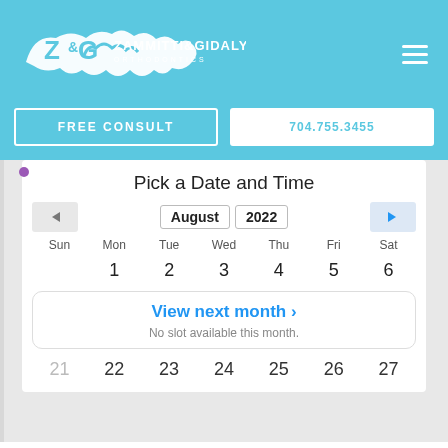[Figure (logo): Zammitti & Gidaly Orthodontics logo — white stylized teeth/NC logo on blue background]
FREE CONSULT
704.755.3455
Pick a Date and Time
August 2022
| Sun | Mon | Tue | Wed | Thu | Fri | Sat |
| --- | --- | --- | --- | --- | --- | --- |
|  | 1 | 2 | 3 | 4 | 5 | 6 |
| View next month ›  No slot available this month. |  |  |  |  |  |  |
| 21 | 22 | 23 | 24 | 25 | 26 | 27 |
View next month ›
No slot available this month.